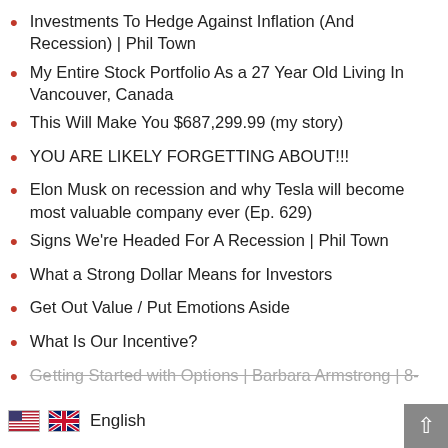Investments To Hedge Against Inflation (And Recession) | Phil Town
My Entire Stock Portfolio As a 27 Year Old Living In Vancouver, Canada
This Will Make You $687,299.99 (my story)
YOU ARE LIKELY FORGETTING ABOUT!!!
Elon Musk on recession and why Tesla will become most valuable company ever (Ep. 629)
Signs We're Headed For A Recession | Phil Town
What a Strong Dollar Means for Investors
Get Out Value / Put Emotions Aside
What Is Our Incentive?
Getting Started with Options | Barbara Armstrong | 8-9-2